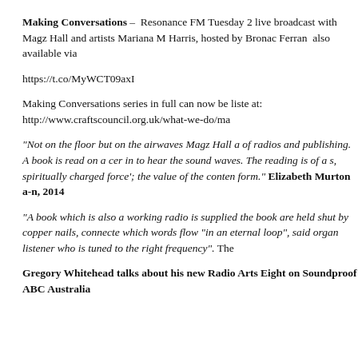Making Conversations – Resonance FM Tuesday 2... live broadcast with Magz Hall and artists Mariana M... Harris, hosted by Bronac Ferran also available via...
https://t.co/MyWCT09axI
Making Conversations series in full can now be liste... at: http://www.craftscouncil.org.uk/what-we-do/ma...
“Not on the floor but on the airwaves Magz Hall a... of radios and publishing. A book is read on a cer... in to hear the sound waves. The reading is of a s... spiritually charged force’; the value of the conten... form.” Elizabeth Murton a-n, 2014
“A book which is also a working radio is supplied... the book are held shut by copper nails, connecte... which words flow “in an eternal loop”, said organ... listener who is tuned to the right frequency”. The...
Gregory Whitehead talks about his new Radio Arts... Eight on Soundproof ABC Australia